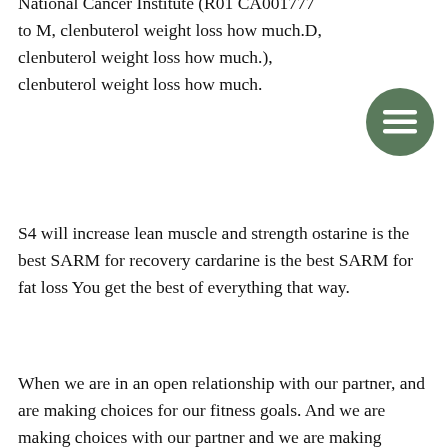National Cancer Institute (R01 CA001777 to M, clenbuterol weight loss how much.D, clenbuterol weight loss how much.), clenbuterol weight loss how much.
[Figure (other): Hamburger menu icon — three horizontal lines on a dark green circular background]
S4 will increase lean muscle and strength ostarine is the best SARM for recovery cardarine is the best SARM for fat loss You get the best of everything that way.
When we are in an open relationship with our partner, and are making choices for our fitness goals. And we are making choices with our partner and we are making choices on whether to use SARM or not. What if you found yourself in an open relationship with your fiancee or he/she with his or her friends. How were you going to respond to an open relationship. What would be your goal in that relationship with those friends? What would the outcome be and what would result in an